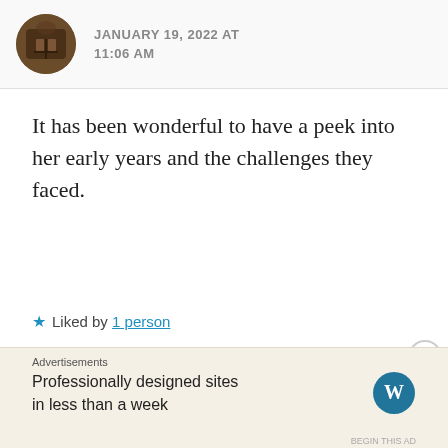JANUARY 19, 2022 AT 11:06 AM
It has been wonderful to have a peek into her early years and the challenges they faced.
★ Liked by 1 person
REPLY
Leave a Reply
Advertisements
Professionally designed sites in less than a week